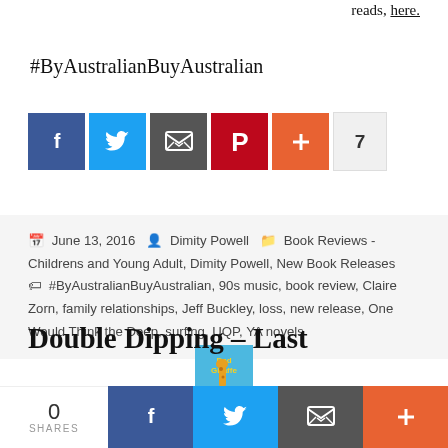reads, here.
#ByAustralianBuyAustralian
[Figure (infographic): Social share buttons: Facebook (blue), Twitter (blue), Email (dark grey), Pinterest (red), Plus (orange-red), count 7]
June 13, 2016  Dimity Powell  Book Reviews - Childrens and Young Adult, Dimity Powell, New Book Releases  #ByAustralianBuyAustralian, 90s music, book review, Claire Zorn, family relationships, Jeff Buckley, loss, new release, One Would Think the Deep, surfing, UQP, YA novels
[Figure (photo): Small book cover image with giraffe illustration on blue background, titled 'Dad Giraffe']
Double Dipping – Last
[Figure (infographic): Bottom share bar: 0 SHARES, Facebook, Twitter, Email, Plus buttons]